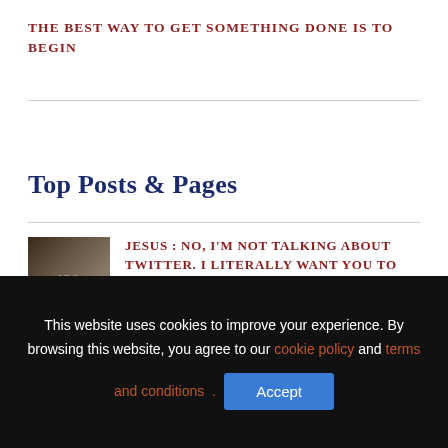THE BEST WAY TO GET SOMETHING DONE IS TO BEGIN
Top Posts & Pages
JESUS : NO, I'M NOT TALKING ABOUT TWITTER. I LITERALLY WANT YOU TO FOLLOW ME.
AIRBNB: HOW TO SCAN FOR WIFI CAMERAS
This website uses cookies to improve your experience. By browsing this website, you agree to our cookie policy and terms and conditions.